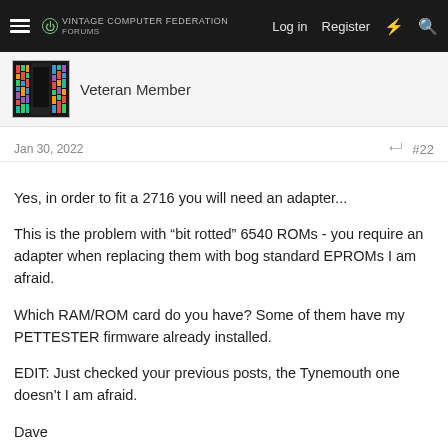Log in  Register
[Figure (screenshot): Forum user avatar showing colorful bookshelf/tape media graphic]
Veteran Member
Jan 30, 2022
#22
Yes, in order to fit a 2716 you will need an adapter...
This is the problem with “bit rotted” 6540 ROMs - you require an adapter when replacing them with bog standard EPROMs I am afraid.
Which RAM/ROM card do you have? Some of them have my PETTESTER firmware already installed.
EDIT: Just checked your previous posts, the Tynemouth one doesn’t I am afraid.
Dave